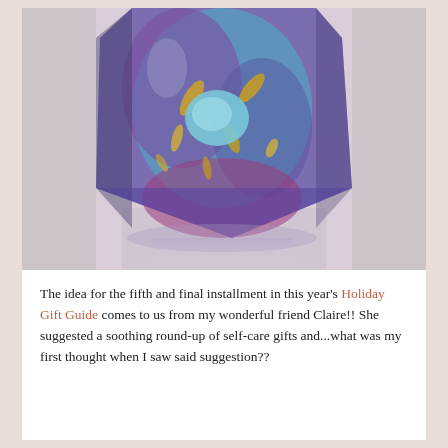[Figure (photo): Close-up photograph of a crystal/gemstone tower with purple amethyst and blue hues with gold metallic flecks, reflecting on a light surface below]
The idea for the fifth and final installment in this year's Holiday Gift Guide comes to us from my wonderful friend Claire!! She suggested a soothing round-up of self-care gifts and...what was my first thought when I saw said suggestion??